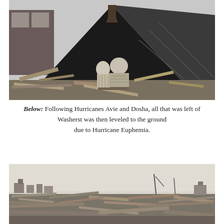[Figure (photo): Black and white photograph of two people sitting in front of collapsed roof structure amid storm debris and destroyed lumber, with a house visible in background.]
Below: Following Hurricanes Avie and Dosha, all that was left of Washerst was then leveled to the ground due to Hurricane Euphemia.
[Figure (photo): Black and white panoramic photograph showing widespread destruction and debris field from hurricane damage, with scattered broken lumber across a flat area and distant structures visible on the horizon.]